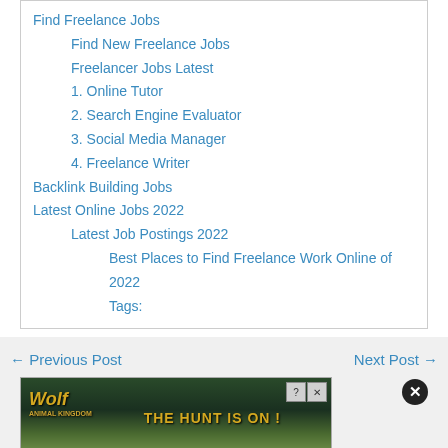Find Freelance Jobs
Find New Freelance Jobs
Freelancer Jobs Latest
1. Online Tutor
2. Search Engine Evaluator
3. Social Media Manager
4. Freelance Writer
Backlink Building Jobs
Latest Online Jobs 2022
Latest Job Postings 2022
Best Places to Find Freelance Work Online of 2022
Tags:
← Previous Post
Next Post →
[Figure (illustration): Wolf game advertisement banner showing wolves in a field with text 'THE HUNT IS ON!']
Leave a Comment